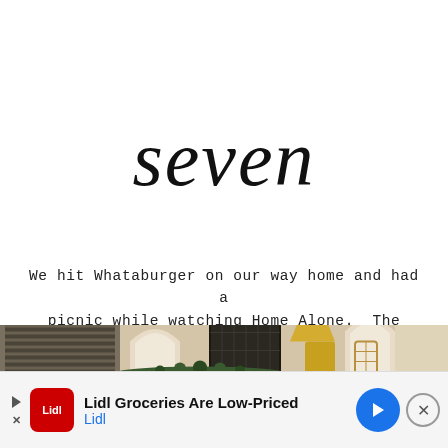seven
We hit Whataburger on our way home and had a picnic while watching Home Alone.  The best.
[Figure (photo): Interior room photo showing a living room with arched doorways, window blinds, and Christmas decorations on a shelf or mantel, photographed in warm indoor lighting.]
[Figure (infographic): Advertisement banner: Lidl Groceries Are Low-Priced, with Lidl logo and blue arrow icon, and a close button (X).]